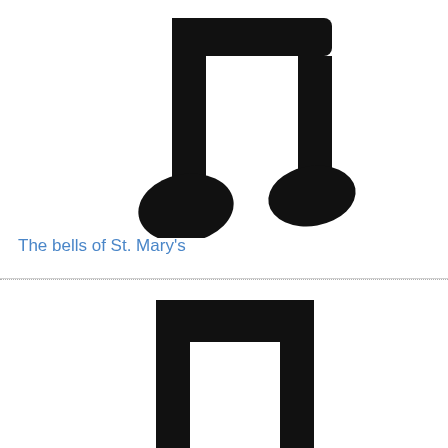[Figure (illustration): Large black musical double eighth note (beamed quaver) icon centered in the upper card]
The bells of St. Mary's
[Figure (illustration): Large black musical double eighth note (beamed quaver) icon centered in the lower card, partially cropped at bottom]